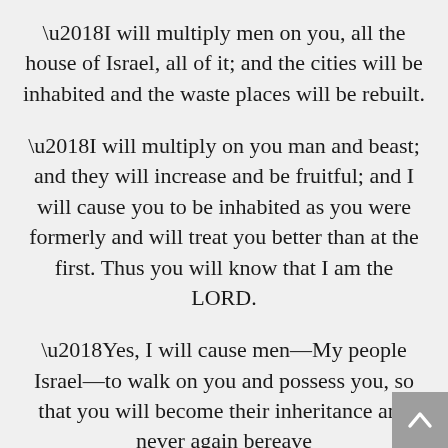‘I will multiply men on you, all the house of Israel, all of it; and the cities will be inhabited and the waste places will be rebuilt.
‘I will multiply on you man and beast; and they will increase and be fruitful; and I will cause you to be inhabited as you were formerly and will treat you better than at the first. Thus you will know that I am the LORD.
‘Yes, I will cause men—My people Israel—to walk on you and possess you, so that you will become their inheritance and never again bereave